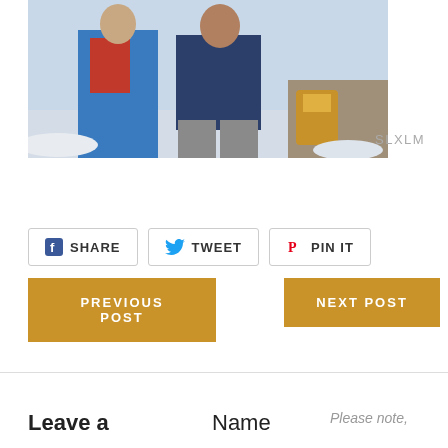[Figure (photo): Two people standing outdoors in a snowy/icy environment. Left person wears blue jacket and blue ski pants with red vest. Right person wears dark navy top and grey pants. A yellow backpack is visible in the background.]
SLXLM
SHARE   TWEET   PIN IT
PREVIOUS POST
NEXT POST
Leave a
Name
Please note,